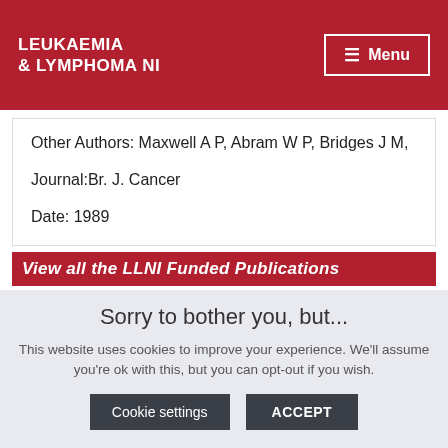LEUKAEMIA & LYMPHOMA NI  ☰ Menu
Other Authors: Maxwell A P, Abram W P, Bridges J M,
Journal:Br. J. Cancer
Date: 1989
View all the LLNI Funded Publications
Sorry to bother you, but...
This website uses cookies to improve your experience. We'll assume you're ok with this, but you can opt-out if you wish.
Cookie settings  ACCEPT